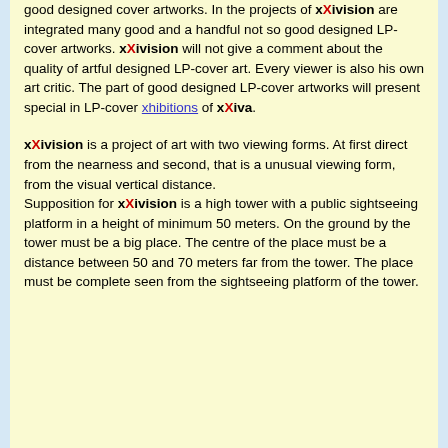good designed cover artworks. In the projects of xXivision are integrated many good and a handful not so good designed LP-cover artworks. xXivision will not give a comment about the quality of artful designed LP-cover art. Every viewer is also his own art critic. The part of good designed LP-cover artworks will present special in LP-cover xhibitions of xXiva.

xXivision is a project of art with two viewing forms. At first direct from the nearness and second, that is a unusual viewing form, from the visual vertical distance.
Supposition for xXivision is a high tower with a public sightseeing platform in a height of minimum 50 meters. On the ground by the tower must be a big place. The centre of the place must be a distance between 50 and 70 meters far from the tower. The place must be complete seen from the sightseeing platform of the tower.